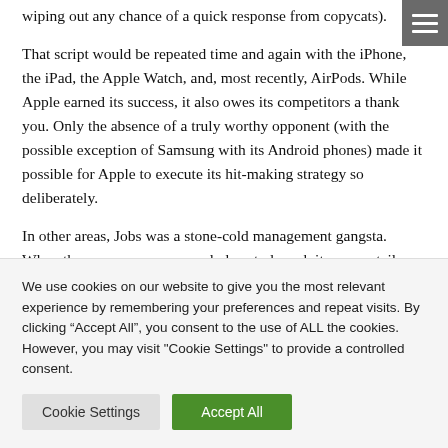wiping out any chance of a quick response from copycats).
That script would be repeated time and again with the iPhone, the iPad, the Apple Watch, and, most recently, AirPods. While Apple earned its success, it also owes its competitors a thank you. Only the absence of a truly worthy opponent (with the possible exception of Samsung with its Android phones) made it possible for Apple to execute its hit-making strategy so deliberately.
In other areas, Jobs was a stone-cold management gangsta. When the company announced plans to launch its own retail
We use cookies on our website to give you the most relevant experience by remembering your preferences and repeat visits. By clicking “Accept All”, you consent to the use of ALL the cookies. However, you may visit "Cookie Settings" to provide a controlled consent.